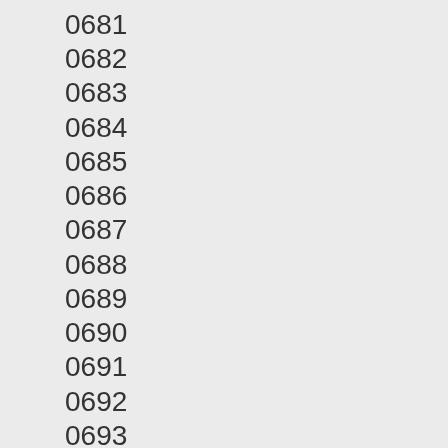0681
0682
0683
0684
0685
0686
0687
0688
0689
0690
0691
0692
0693
0694
0695